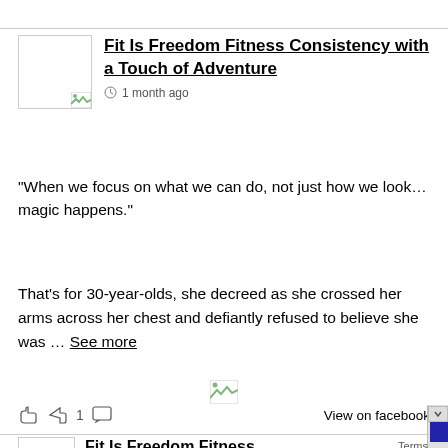[Figure (screenshot): Avatar/profile image placeholder with broken image icon for Fit Is Freedom Fitness post]
Fit Is Freedom Fitness Consistency with a Touch of Adventure
1 month ago
“When we focus on what we can do, not just how we look…magic happens.”
That’s for 30-year-olds, she decreed as she crossed her arms across her chest and defiantly refused to believe she was … See more
[Figure (photo): Broken image placeholder icon in center of post]
View on facebook
[Figure (screenshot): Second post avatar placeholder]
Fit Is Freedom Fitness Consistency with a Touch of